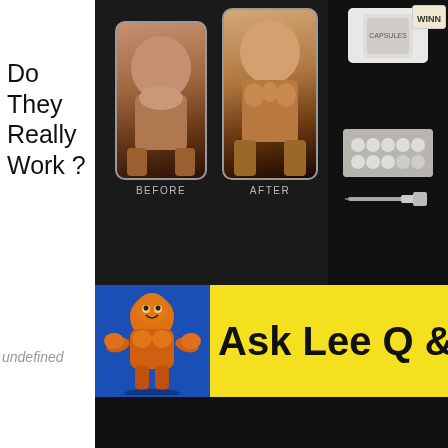[Figure (photo): Composite image showing a before-and-after body transformation photo side by side, with supplement bottles and syringes visible on the right, on a dark background. Text 'BEFORE' and 'AFTER' labels appear below the respective photos.]
Do They Really Work ?
[Figure (illustration): Ask Lee Q & A banner with yellow background, a cartoon muscular orange bodybuilder mascot on a blue background on the left, and bold black text 'Ask Lee Q & A' on the right.]
undefined